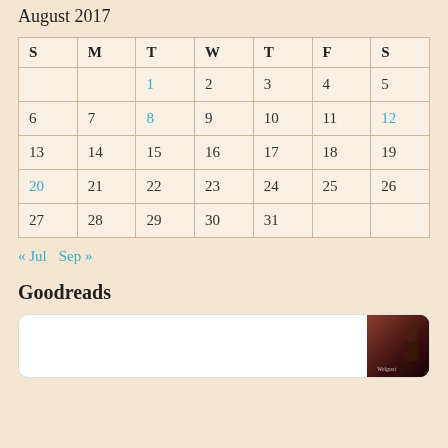August 2017
| S | M | T | W | T | F | S |
| --- | --- | --- | --- | --- | --- | --- |
|  |  | 1 | 2 | 3 | 4 | 5 |
| 6 | 7 | 8 | 9 | 10 | 11 | 12 |
| 13 | 14 | 15 | 16 | 17 | 18 | 19 |
| 20 | 21 | 22 | 23 | 24 | 25 | 26 |
| 27 | 28 | 29 | 30 | 31 |  |  |
« Jul   Sep »
Goodreads
[Figure (photo): Book cover thumbnail showing a dark romantic scene]